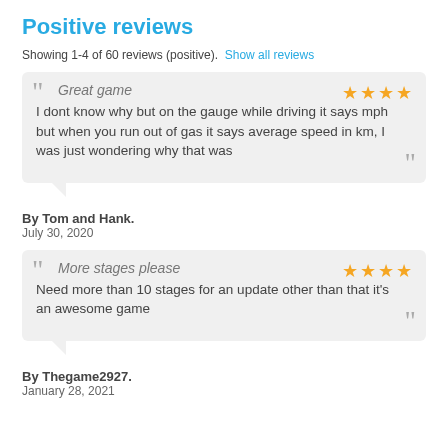Positive reviews
Showing 1-4 of 60 reviews (positive). Show all reviews
Great game
I dont know why but on the gauge while driving it says mph but when you run out of gas it says average speed in km, I was just wondering why that was
By Tom and Hank.
July 30, 2020
More stages please
Need more than 10 stages for an update other than that it's an awesome game
By Thegame2927.
January 28, 2021